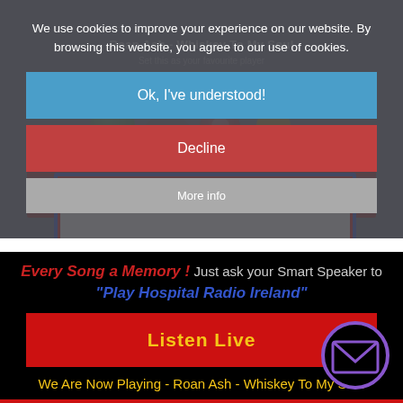[Figure (screenshot): Website screenshot showing cookie consent dialog overlaid on Hospital Radio Ireland webpage. Background shows song title 'Roan Ash - Whiskey To My Soul', media player icons, and a red/blue bordered box. Cookie dialog has blue 'Ok, I've understood!' button, red 'Decline' button, and grey 'More info' button.]
We use cookies to improve your experience on our website. By browsing this website, you agree to our use of cookies.
Ok, I've understood!
Decline
Every Song a Memory ! Just ask your Smart Speaker to "Play Hospital Radio Ireland"
Listen Live
We Are Now Playing - Roan Ash - Whiskey To My Soul